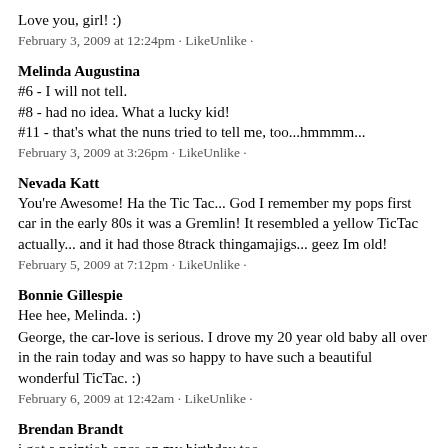Love you, girl! :)
February 3, 2009 at 12:24pm · LikeUnlike ·
Melinda Augustina
#6 - I will not tell.
#8 - had no idea. What a lucky kid!
#11 - that's what the nuns tried to tell me, too...hmmmm...
February 3, 2009 at 3:26pm · LikeUnlike ·
Nevada Katt
You're Awesome! Ha the Tic Tac... God I remember my pops first car in the early 80s it was a Gremlin! It resembled a yellow TicTac actually... and it had those 8track thingamajigs... geez Im old!
February 5, 2009 at 7:12pm · LikeUnlike ·
Bonnie Gillespie
Hee hee, Melinda. :)

George, the car-love is serious. I drove my 20 year old baby all over in the rain today and was so happy to have such a beautiful wonderful TicTac. :)
February 6, 2009 at 12:42am · LikeUnlike ·
Brendan Brandt
i got a paintjob once on my birthday too...